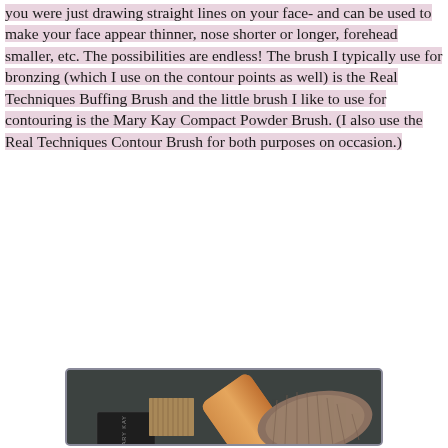you were just drawing straight lines on your face- and can be used to make your face appear thinner, nose shorter or longer, forehead smaller, etc. The possibilities are endless! The brush I typically use for bronzing (which I use on the contour points as well) is the Real Techniques Buffing Brush and the little brush I like to use for contouring is the Mary Kay Compact Powder Brush. (I also use the Real Techniques Contour Brush for both purposes on occasion.)
[Figure (photo): Photo of two makeup brushes on a dark grey background: a large round gold-handled buffing brush (Real Techniques) and a smaller flat compact powder brush with a black handle labeled 'MARY KAY'.]